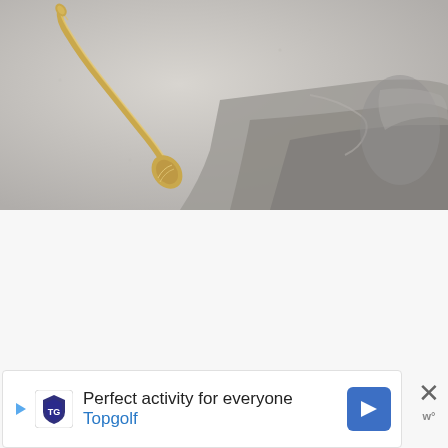[Figure (photo): A gold/brass decorative spoon lying diagonally on a light grey surface, with a rumpled grey fabric/cloth in the background and to the right.]
[Figure (screenshot): White/light grey content area with three navigation dots (pagination indicator) near the top center. On the right side there is a heart/like button (pinkish circle), a '1.1K' likes counter, and a share button (white circle with share icon).]
[Figure (screenshot): Advertisement banner at the bottom: Topgolf ad reading 'Perfect activity for everyone' with Topgolf logo and a blue navigation arrow icon. A close (X) button is at the right.]